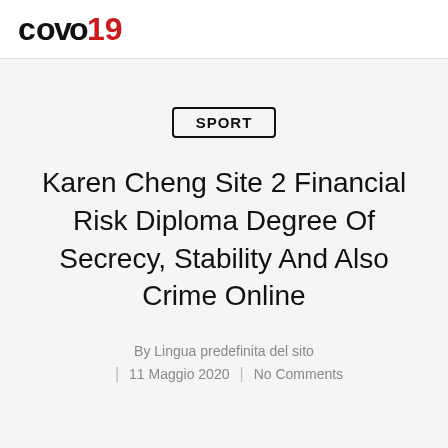COVO19
SPORT
Karen Cheng Site 2 Financial Risk Diploma Degree Of Secrecy, Stability And Also Crime Online
By Lingua predefinita del sito
| 11 Maggio 2020 | No Comments